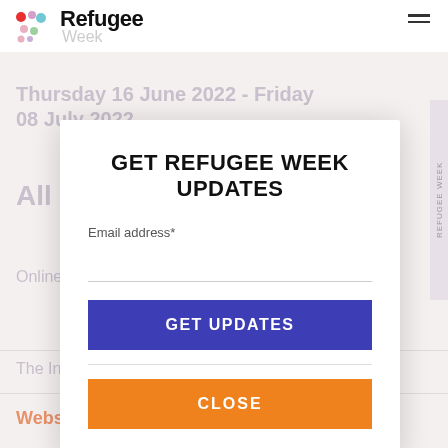[Figure (logo): Refugee Week logo with coloured dots and text 'Refugee Week']
Thursday 16 June 2022 - Friday 08 July 2022
All Day
Online
GET REFUGEE WEEK UPDATES
Email address*
GET UPDATES
CLOSE
The International Rescue Committee
Website